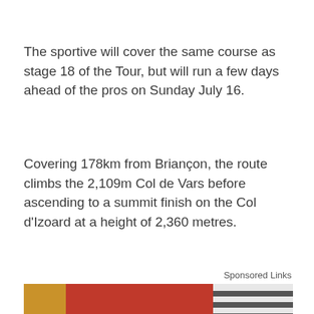The sportive will cover the same course as stage 18 of the Tour, but will run a few days ahead of the pros on Sunday July 16.
Covering 178km from Briançon, the route climbs the 2,109m Col de Vars before ascending to a summit finish on the Col d'Izoard at a height of 2,360 metres.
Sponsored Links
[Figure (photo): A person in a red jacket and striped sleeve reaching into or handling a large glass pitcher/jug filled with a red liquid drink, possibly lemonade or punch.]